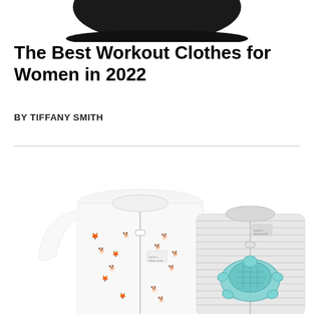[Figure (photo): Partial image of a dark round hat/object cropped at the top of the page]
The Best Workout Clothes for Women in 2022
BY TIFFANY SMITH
[Figure (photo): Two baby zip-up sleepers/onesies: one white with colorful animal print (dogs, foxes) on the left, and one gray striped with a teal turtle applique on the right]